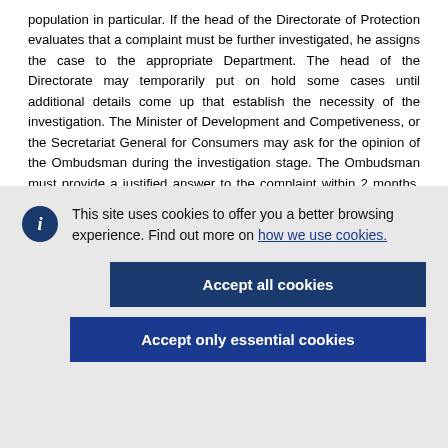population in particular. If the head of the Directorate of Protection evaluates that a complaint must be further investigated, he assigns the case to the appropriate Department. The head of the Directorate may temporarily put on hold some cases until additional details come up that establish the necessity of the investigation. The Minister of Development and Competiveness, or the Secretariat General for Consumers may ask for the opinion of the Ombudsman during the investigation stage. The Ombudsman must provide a justified answer to the complaint within 2 months. The Secretariat must issue a decision within
This site uses cookies to offer you a better browsing experience. Find out more on how we use cookies.
Accept all cookies
Accept only essential cookies